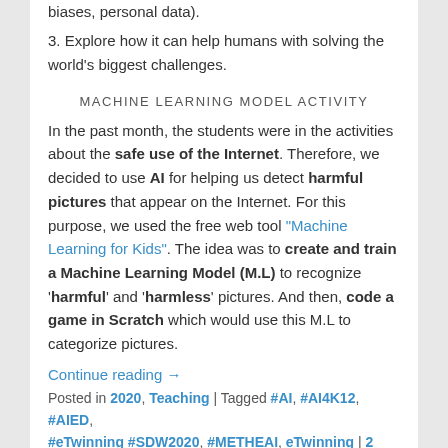biases, personal data).
3. Explore how it can help humans with solving the world's biggest challenges.
MACHINE LEARNING MODEL ACTIVITY
In the past month, the students were in the activities about the safe use of the Internet. Therefore, we decided to use AI for helping us detect harmful pictures that appear on the Internet. For this purpose, we used the free web tool "Machine Learning for Kids". The idea was to create and train a Machine Learning Model (M.L) to recognize 'harmful' and 'harmless' pictures. And then, code a game in Scratch which would use this M.L to categorize pictures.
Continue reading →
Posted in 2020, Teaching | Tagged #AI, #AI4K12, #AIED, #eTwinning #SDW2020, #METHEAI, eTwinning | 2 Replies